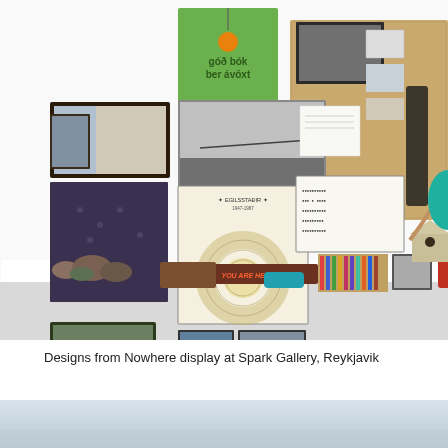[Figure (photo): Gallery wall display showing various framed photographs, posters, maps, artworks and objects arranged on a white wall, with a white shelf below holding rocks, boxes, books, and miscellaneous items. The display is titled 'Designs from Nowhere' at Spark Gallery, Reykjavik.]
Designs from Nowhere display at Spark Gallery, Reykjavik
[Figure (photo): Partial view of a landscape photo showing a pale sky and light blue-grey terrain, cropped at the bottom of the page.]